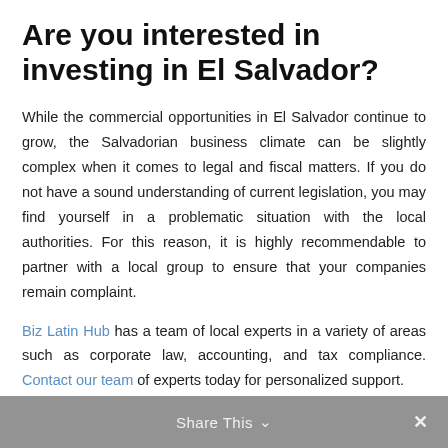Are you interested in investing in El Salvador?
While the commercial opportunities in El Salvador continue to grow, the Salvadorian business climate can be slightly complex when it comes to legal and fiscal matters. If you do not have a sound understanding of current legislation, you may find yourself in a problematic situation with the local authorities. For this reason, it is highly recommendable to partner with a local group to ensure that your companies remain complaint.
Biz Latin Hub has a team of local experts in a variety of areas such as corporate law, accounting, and tax compliance. Contact our team of experts today for personalized support.
Share This ∨  ×